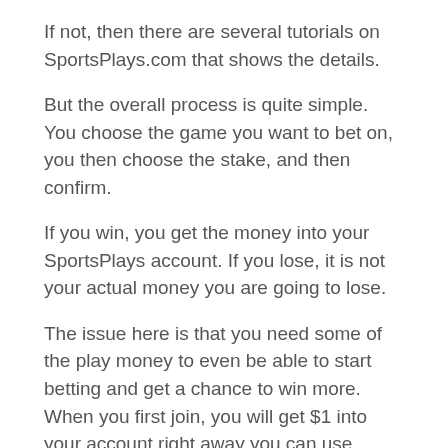If not, then there are several tutorials on SportsPlays.com that shows the details.
But the overall process is quite simple. You choose the game you want to bet on, you then choose the stake, and then confirm.
If you win, you get the money into your SportsPlays account. If you lose, it is not your actual money you are going to lose.
The issue here is that you need some of the play money to even be able to start betting and get a chance to win more. When you first join, you will get $1 into your account right away you can use.
But this is, of course, not a lot.
To then get more money into your account so you have more to bet with, you can use some of the